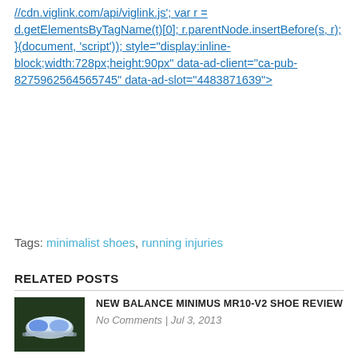//cdn.viglink.com/api/viglink.js'; var r = d.getElementsByTagName(t)[0]; r.parentNode.insertBefore(s, r); }(document, 'script')); style="display:inline-block;width:728px;height:90px" data-ad-client="ca-pub-8275962564565745" data-ad-slot="4483871639">
Tags: minimalist shoes, running injuries
RELATED POSTS
NEW BALANCE MINIMUS MR10-V2 SHOE REVIEW
No Comments | Jul 3, 2013